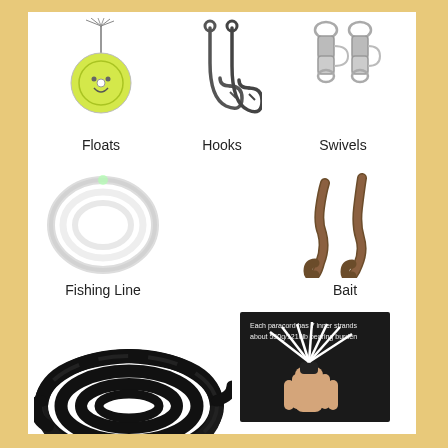[Figure (photo): Fishing equipment collage: floats (yellow circle float with smiley face and feathered top), hooks (two fishing hooks), swivels (two barrel swivels), fishing line (coiled clear monofilament), bait (two soft plastic worm lures), black paracord coiled rope, and close-up photo of paracord showing 7 inner strands with text 'Each paracord has 7 inner strands about 550g/1210lb bearing burden']